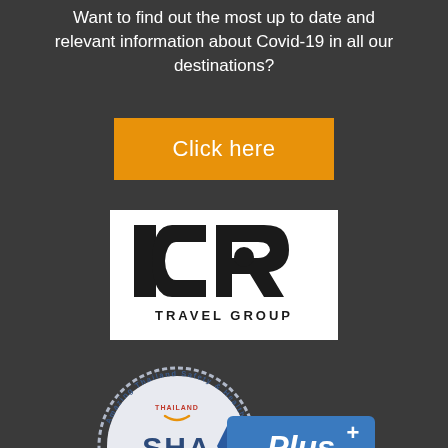Want to find out the most up to date and relevant information about Covid-19 in all our destinations?
[Figure (other): Orange button with text 'Click here']
[Figure (logo): ICS Travel Group logo — black text on white background]
[Figure (logo): Amazing Thailand Safety & Health Administration SHA Plus+ certification badge]